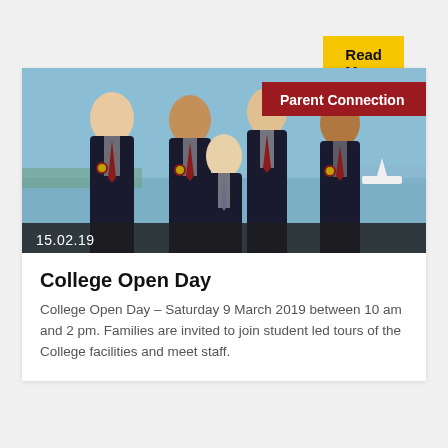Read More
[Figure (photo): Five male students in dark school blazers with red ties and school crests, standing outdoors near a waterfront on a clear day. Date overlay reads 15.02.19. Red banner in top right reads 'Parent Connection'.]
College Open Day
College Open Day – Saturday 9 March 2019 between 10 am and 2 pm. Families are invited to join student led tours of the College facilities and meet staff.